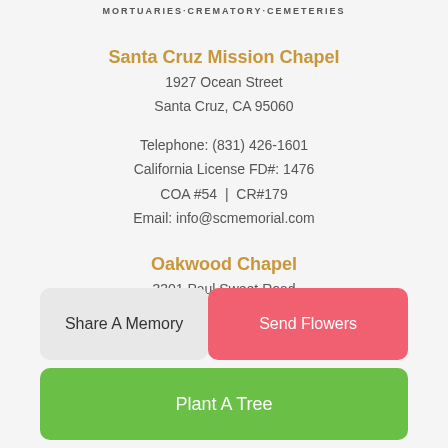MORTUARIES · CREMATORY · CEMETERIES
Santa Cruz Mission Chapel
1927 Ocean Street
Santa Cruz, CA 95060
Telephone: (831) 426-1601
California License FD#: 1476
COA #54  |  CR#179
Email: info@scmemorial.com
Oakwood Chapel
3301 Paul Sweet Road
Santa Cruz, CA 95065
Share A Memory
Send Flowers
Plant A Tree